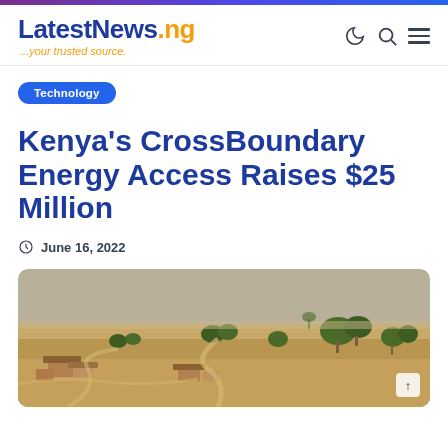LatestNews.ng ...your trusted source.
Technology
Kenya's CrossBoundary Energy Access Raises $25 Million
June 16, 2022
[Figure (photo): Aerial view of a rural African village with scattered buildings, dirt paths, and sparse trees on dry grassland terrain.]